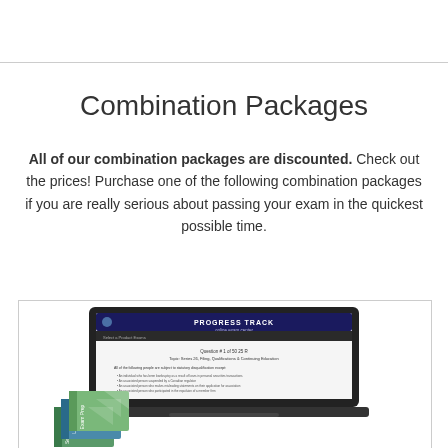Combination Packages
All of our combination packages are discounted. Check out the prices! Purchase one of the following combination packages if you are really serious about passing your exam in the quickest possible time.
[Figure (screenshot): Screenshot of a laptop showing an online exam interface labeled 'Progress Track online exam center' with a question about statutory disqualification. Below the laptop are stacked green/blue printed study books.]